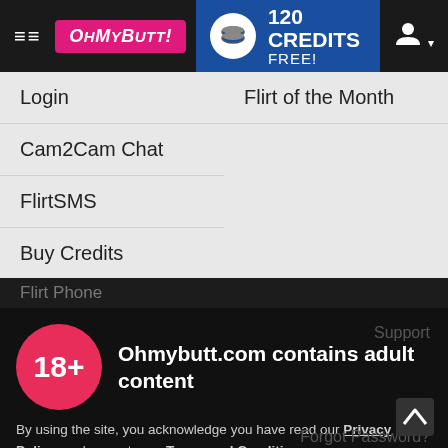OhMyButt! — 120 CREDITS FREE!
Login
Flirt of the Month
Cam2Cam Chat
FlirtSMS
Buy Credits
Flirt Phone
[Figure (infographic): 18+ age verification badge — pink circle with white 18+ text — next to adult content warning overlay on dark background]
Ohmybutt.com contains adult content
By using the site, you acknowledge you have read our Privacy Policy, and agree to our Terms and Conditions.
We use cookies to optimize your experience, analyze traffic, and deliver more personalized service. To learn more, please see our Privacy Policy.
Support
Forgot Password?
Contact Us
Newsletters
News & Announcements